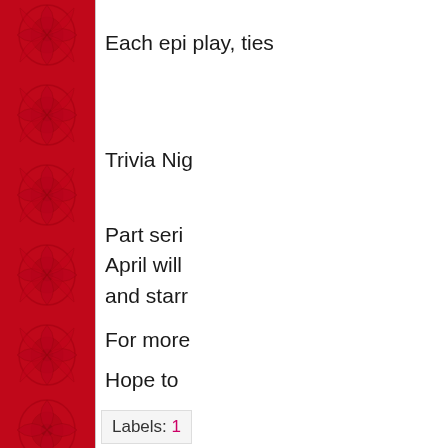[Figure (illustration): Red decorative border with ornate floral/arabesque pattern running vertically along the left side of the page]
Each epi play, ties
Trivia Nig
Part seri April will and starr
For more
Hope to
All the B
The Nav
Labels: 1